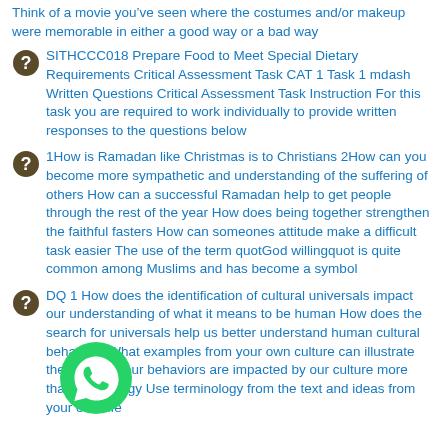Think of a movie you’ve seen where the costumes and/or makeup were memorable in either a good way or a bad way
SITHCCC018 Prepare Food to Meet Special Dietary Requirements Critical Assessment Task CAT 1 Task 1 mdash Written Questions Critical Assessment Task Instruction For this task you are required to work individually to provide written responses to the questions below
1How is Ramadan like Christmas is to Christians 2How can you become more sympathetic and understanding of the suffering of others How can a successful Ramadan help to get people through the rest of the year How does being together strengthen the faithful fasters How can someones attitude make a difficult task easier The use of the term quotGod willingquot is quite common among Muslims and has become a symbol
DQ 1 How does the identification of cultural universals impact our understanding of what it means to be human How does the search for universals help us better understand human cultural behaviors What examples from your own culture can illustrate the idea that our behaviors are impacted by our culture more than our biology Use terminology from the text and ideas from your own life
[Figure (logo): WhatsApp green phone logo badge in bottom-left area]